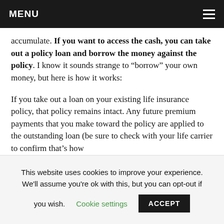MENU
accumulate. If you want to access the cash, you can take out a policy loan and borrow the money against the policy. I know it sounds strange to “borrow” your own money, but here is how it works:
If you take out a loan on your existing life insurance policy, that policy remains intact. Any future premium payments that you make toward the policy are applied to the outstanding loan (be sure to check with your life carrier to confirm that’s how
This website uses cookies to improve your experience. We'll assume you're ok with this, but you can opt-out if you wish. Cookie settings ACCEPT